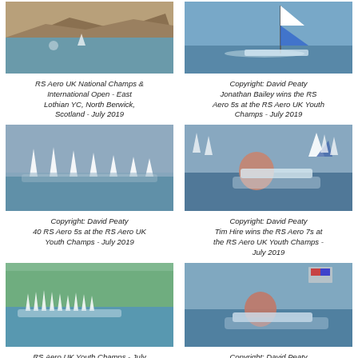[Figure (photo): Aerial view of rocky coastline and sailing boats near land]
RS Aero UK National Champs & International Open - East Lothian YC, North Berwick, Scotland - July 2019
[Figure (photo): Catamaran sailing on open water]
Copyright: David Peaty
Jonathan Bailey wins the RS Aero 5s at the RS Aero UK Youth Champs - July 2019
[Figure (photo): Fleet of RS Aero dinghies racing with sailors hiking out]
Copyright: David Peaty
40 RS Aero 5s at the RS Aero UK Youth Champs - July 2019
[Figure (photo): RS Aero sailor racing close to another boat on water]
Copyright: David Peaty
Tim Hire wins the RS Aero 7s at the RS Aero UK Youth Champs - July 2019
[Figure (photo): Large fleet of RS Aero dinghies sailing on a reservoir with trees in background]
RS Aero UK Youth Champs - July 2019
[Figure (photo): RS Aero sailor hiking out hard with UK flag visible]
Copyright: David Peaty
RS Aero UK Youth Champs - July 2019